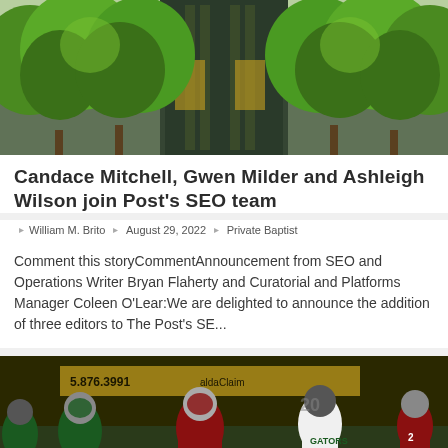[Figure (photo): Outdoor photo of a glass office building surrounded by lush green trees in summer]
Candace Mitchell, Gwen Milder and Ashleigh Wilson join Post's SEO team
William M. Brito  August 29, 2022  Private Baptist
Comment this storyCommentAnnouncement from SEO and Operations Writer Bryan Flaherty and Curatorial and Platforms Manager Coleen O'Lear:We are delighted to announce the addition of three editors to The Post's SE...
[Figure (photo): Night football game photo showing players in red (Patriots) and green (Gators) uniforms on the field]